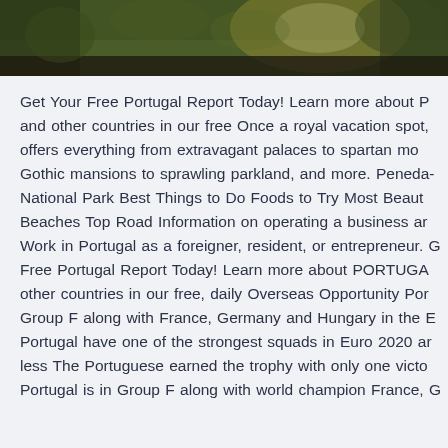[Figure (photo): Top portion of an outdoor photo showing vegetation/plants with warm sunlight in the background, bottom portion of image cropped]
Get Your Free Portugal Report Today! Learn more about P and other countries in our free Once a royal vacation spot, offers everything from extravagant palaces to spartan mo Gothic mansions to sprawling parkland, and more. Peneda- National Park Best Things to Do Foods to Try Most Beaut Beaches Top Road Information on operating a business ar Work in Portugal as a foreigner, resident, or entrepreneur. G Free Portugal Report Today! Learn more about PORTUGA other countries in our free, daily Overseas Opportunity Por Group F along with France, Germany and Hungary in the E Portugal have one of the strongest squads in Euro 2020 ar less The Portuguese earned the trophy with only one victo Portugal is in Group F along with world champion France, G